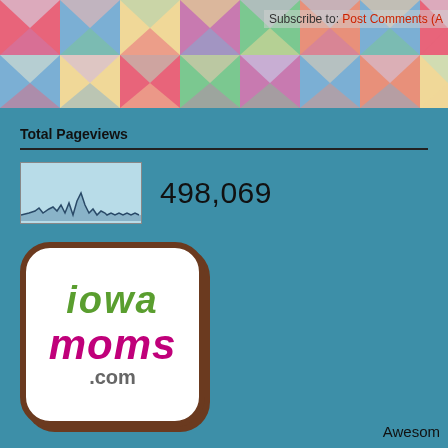[Figure (illustration): Decorative quilt/chevron pattern header banner with colorful geometric zigzag tiles in pink, blue, yellow, green, white]
Subscribe to: Post Comments (A
Total Pageviews
[Figure (continuous-plot): Small sparkline/area chart showing pageview history over time with several peaks]
498,069
[Figure (logo): Iowa Moms .com logo — rounded square with brown border, 'iowa' in green, 'moms' in magenta/pink, '.com' in gray]
Awesom